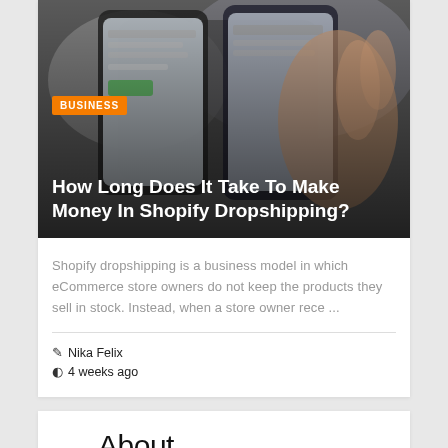[Figure (photo): Hand holding a smartphone with a shopping/ecommerce interface on screen, on a dark blurred background]
BUSINESS
How Long Does It Take To Make Money In Shopify Dropshipping?
Shopify dropshipping is a business model in which eCommerce store owners do not keep the products they sell in stock. Instead, when a store owner rece ...
Nika Felix
4 weeks ago
About
About Us
Contact Us
Advertise